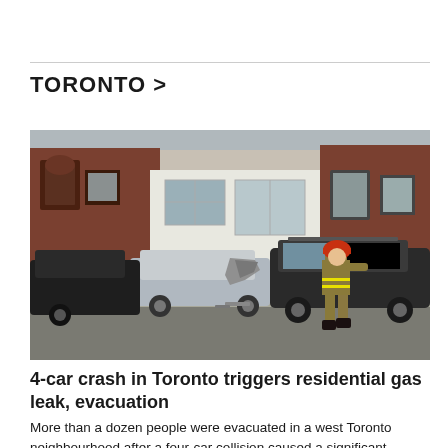TORONTO >
[Figure (photo): A firefighter walks past a multi-car crash scene in a Toronto residential neighbourhood. A damaged silver sedan has its side caved in, with a black SUV and another dark vehicle involved. The collision occurred in front of brick rowhouses.]
4-car crash in Toronto triggers residential gas leak, evacuation
More than a dozen people were evacuated in a west Toronto neighbourhood after a four-car collision caused a significant